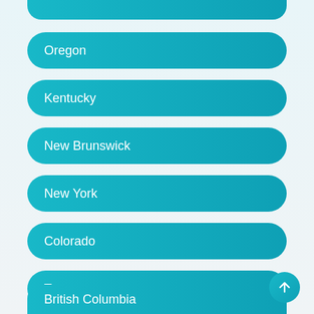Oregon
Kentucky
New Brunswick
New York
Colorado
Tennessee
British Columbia